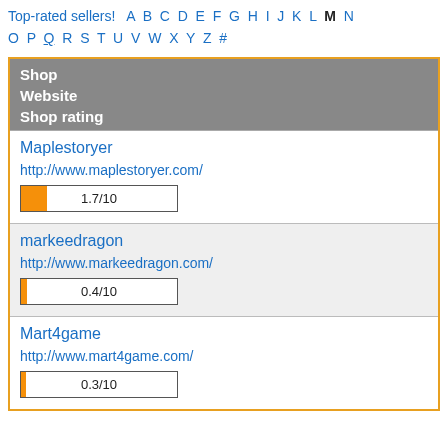Top-rated sellers! A B C D E F G H I J K L M N O P Q R S T U V W X Y Z #
| Shop | Website | Shop rating |
| --- | --- | --- |
| Maplestoryer | http://www.maplestoryer.com/ | 1.7/10 |
| markeedragon | http://www.markeedragon.com/ | 0.4/10 |
| Mart4game | http://www.mart4game.com/ | 0.3/10 |